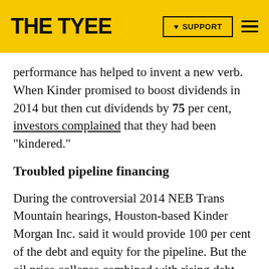THE TYEE | SUPPORT
performance has helped to invent a new verb. When Kinder promised to boost dividends in 2014 but then cut dividends by 75 per cent, investors complained that they had been "kindered."
Troubled pipeline financing
During the controversial 2014 NEB Trans Mountain hearings, Houston-based Kinder Morgan Inc. said it would provide 100 per cent of the debt and equity for the pipeline. But the oil price collapse combined with rising debt levels put the company's largest capital project on shaky ground. Investor interest waned, and Kinder Morgan Inc. had trouble raising debt or equity in the U.S. markets. Nor could it find